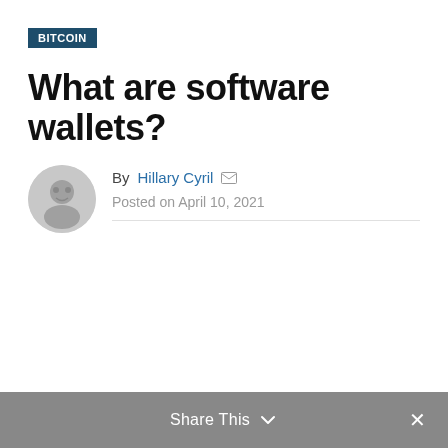BITCOIN
What are software wallets?
By Hillary Cyril
Posted on April 10, 2021
Share This